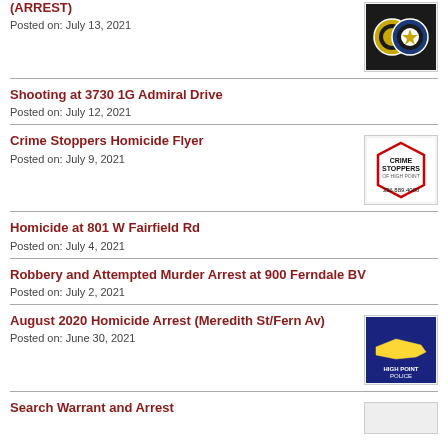(ARREST)
Posted on: July 13, 2021
Shooting at 3730 1G Admiral Drive
Posted on: July 12, 2021
Crime Stoppers Homicide Flyer
Posted on: July 9, 2021
Homicide at 801 W Fairfield Rd
Posted on: July 4, 2021
Robbery and Attempted Murder Arrest at 900 Ferndale BV
Posted on: July 2, 2021
August 2020 Homicide Arrest (Meredith St/Fern Av)
Posted on: June 30, 2021
Search Warrant and Arrest